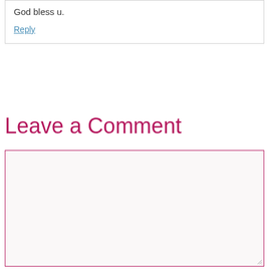God bless u.
Reply
Leave a Comment
[Figure (other): Empty comment textarea input box with pink/magenta border and light background, with a resize handle in the bottom-right corner]